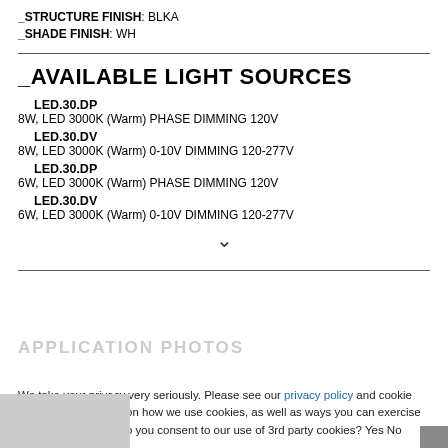_STRUCTURE FINISH: BLKA
_SHADE FINISH: WH
_AVAILABLE LIGHT SOURCES
LED.30.DP
8W, LED 3000K (Warm) PHASE DIMMING 120V
LED.30.DV
8W, LED 3000K (Warm) 0-10V DIMMING 120-277V
LED.30.DP
6W, LED 3000K (Warm) PHASE DIMMING 120V
LED.30.DV
6W, LED 3000K (Warm) 0-10V DIMMING 120-277V
We take your privacy very seriously. Please see our privacy policy and cookie disclosure for details on how we use cookies, as well as ways you can exercise your privacy rights. Do you consent to our use of 3rd party cookies? Yes No